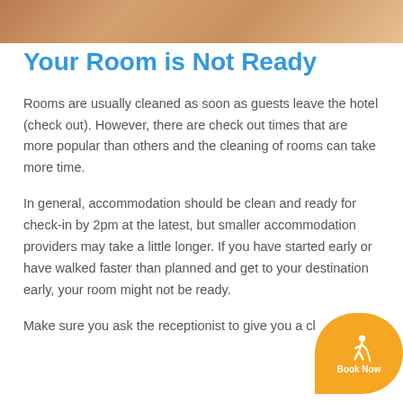[Figure (photo): Top portion of an image showing a hotel room or accommodation scene with warm tones]
Your Room is Not Ready
Rooms are usually cleaned as soon as guests leave the hotel (check out). However, there are check out times that are more popular than others and the cleaning of rooms can take more time.
In general, accommodation should be clean and ready for check-in by 2pm at the latest, but smaller accommodation providers may take a little longer. If you have started early or have walked faster than planned and get to your destination early, your room might not be ready.
Make sure you ask the receptionist to give you a cl- idea of when the room will be ready. Alternatively...